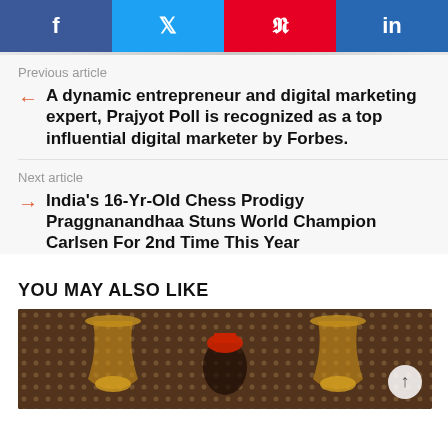[Figure (infographic): Social media share buttons: Facebook (blue), Twitter (light blue), Pinterest (red), LinkedIn (blue)]
Previous article
A dynamic entrepreneur and digital marketing expert, Prajyot Poll is recognized as a top influential digital marketer by Forbes.
Next article
India's 16-Yr-Old Chess Prodigy Praggnanandhaa Stuns World Champion Carlsen For 2nd Time This Year
YOU MAY ALSO LIKE
[Figure (photo): Photo of person with chandelier lights in background]